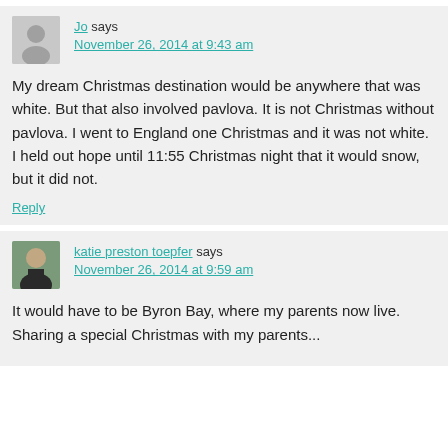Jo says
November 26, 2014 at 9:43 am
My dream Christmas destination would be anywhere that was white. But that also involved pavlova. It is not Christmas without pavlova. I went to England one Christmas and it was not white. I held out hope until 11:55 Christmas night that it would snow, but it did not.
Reply
katie preston toepfer says
November 26, 2014 at 9:59 am
It would have to be Byron Bay, where my parents now live. Sharing a special Christmas with my parents...